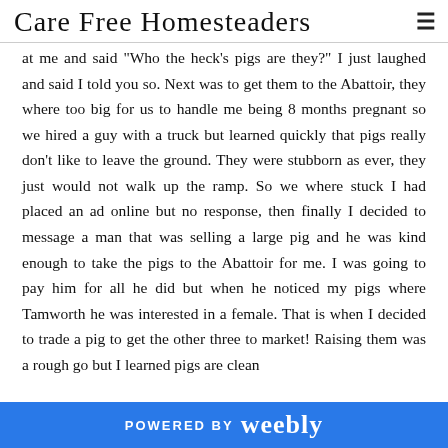Care Free Homesteaders
at me and said "Who the heck's pigs are they?" I just laughed and said I told you so. Next was to get them to the Abattoir, they where too big for us to handle me being 8 months pregnant so we hired a guy with a truck but learned quickly that pigs really don't like to leave the ground. They were stubborn as ever, they just would not walk up the ramp. So we where stuck I had placed an ad online but no response, then finally I decided to message a man that was selling a large pig and he was kind enough to take the pigs to the Abattoir for me. I was going to pay him for all he did but when he noticed my pigs where Tamworth he was interested in a female. That is when I decided to trade a pig to get the other three to market! Raising them was a rough go but I learned pigs are clean
POWERED BY weebly